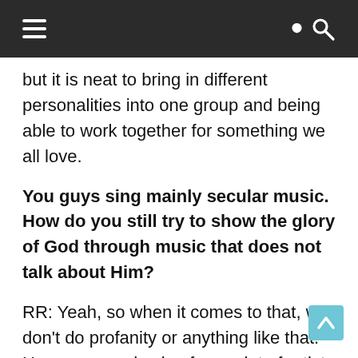≡  🔍
but it is neat to bring in different personalities into one group and being able to work together for something we all love.
You guys sing mainly secular music. How do you still try to show the glory of God through music that does not talk about Him?
RR: Yeah, so when it comes to that, we don't do profanity or anything like that. However, we do sing from a lot of artists which are questionable. When it comes to that, music is something that is given by the Lord. When God gives you a gift, you have to be able to expound upon it. I think the biggest way we can reach other people is in ways they understand. For us, going in there and trying to smack someone over the head with a Bible over and over again, it is not going to get to